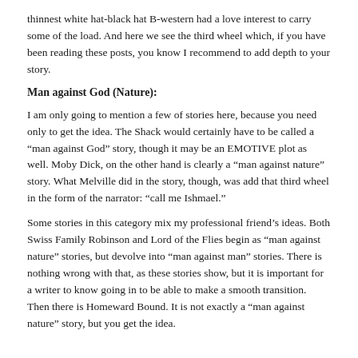thinnest white hat-black hat B-western had a love interest to carry some of the load.  And here we see the third wheel which, if you have been reading these posts, you know I recommend to add depth to your story.
Man against God (Nature):
I am only going to mention a few of stories here, because you need only to get the idea.  The Shack would certainly have to be called a “man against God” story, though it may be an EMOTIVE plot as well.  Moby Dick, on the other hand is clearly a “man against nature” story.  What Melville did in the story, though, was add that third wheel in the form of the narrator:  “call me Ishmael.”
Some stories in this category mix my professional friend’s ideas.  Both Swiss Family Robinson and Lord of the Flies begin as “man against nature” stories, but devolve into “man against man” stories.  There is nothing wrong with that, as these stories show, but it is important for a writer to know going in to be able to make a smooth transition.  Then there is Homeward Bound.  It is not exactly a “man against nature” story, but you get the idea.